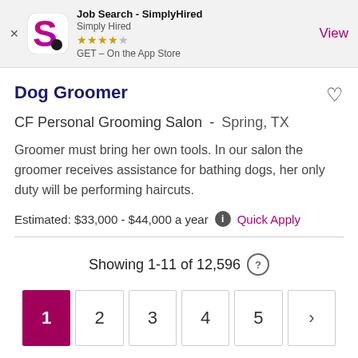[Figure (screenshot): App Store banner for Job Search - SimplyHired app with logo, star rating, and View button]
Dog Groomer
CF Personal Grooming Salon - Spring, TX
Groomer must bring her own tools. In our salon the groomer receives assistance for bathing dogs, her only duty will be performing haircuts.
Estimated: $33,000 - $44,000 a year  Quick Apply
Showing 1-11 of 12,596
1 2 3 4 5 >